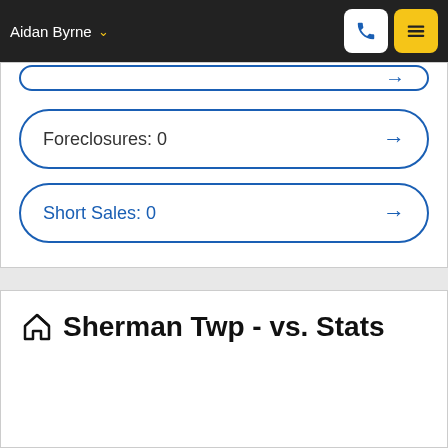Aidan Byrne
Foreclosures: 0
Short Sales: 0
Sherman Twp - vs. Stats